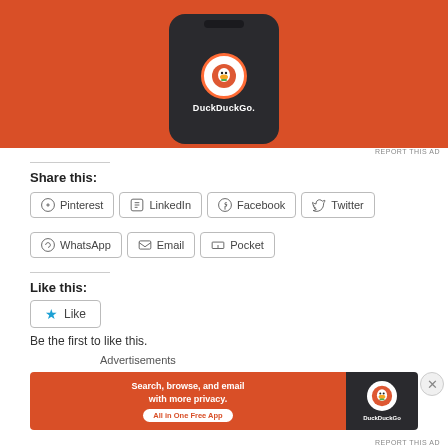[Figure (illustration): DuckDuckGo advertisement showing a smartphone with the DuckDuckGo logo on an orange background]
REPORT THIS AD
Share this:
Pinterest
LinkedIn
Facebook
Twitter
WhatsApp
Email
Pocket
Like this:
Like
Be the first to like this.
Advertisements
[Figure (illustration): DuckDuckGo advertisement banner: Search, browse, and email with more privacy. All in One Free App]